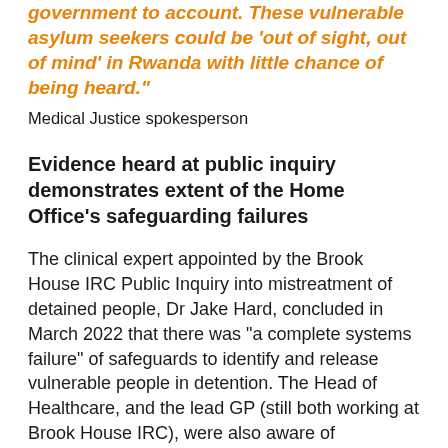government to account. These vulnerable asylum seekers could be 'out of sight, out of mind' in Rwanda with little chance of being heard."
Medical Justice spokesperson
Evidence heard at public inquiry demonstrates extent of the Home Office's safeguarding failures
The clinical expert appointed by the Brook House IRC Public Inquiry into mistreatment of detained people, Dr Jake Hard, concluded in March 2022 that there was "a complete systems failure" of safeguards to identify and release vulnerable people in detention. The Head of Healthcare, and the lead GP (still both working at Brook House IRC), were also aware of